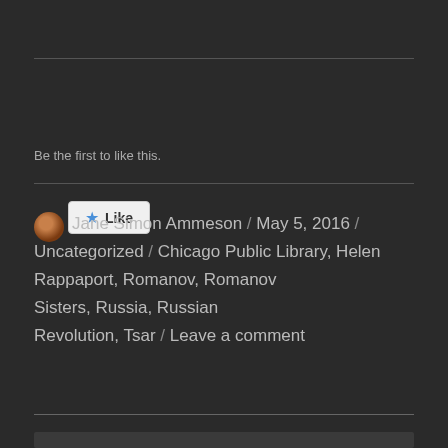[Figure (other): Like button widget with star icon]
Be the first to like this.
Jane Simon Ammeson / May 5, 2016 / Uncategorized / Chicago Public Library, Helen Rappaport, Romanov, Romanov Sisters, Russia, Russian Revolution, Tsar / Leave a comment